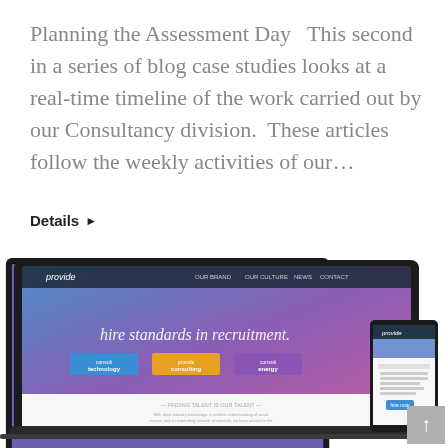Planning the Assessment Day  This second in a series of blog case studies looks at a real-time timeline of the work carried out by our Consultancy division.  These articles follow the weekly activities of our…
Details ▶
[Figure (screenshot): Screenshot of the 'provide' website displayed on a laptop and a smartphone. The website shows 'hire standards in recruitment' with three colored buttons: technology (blue), consulting (yellow/orange), and energy (purple). Below is a section titled 'FINDING TALENT IS OUR TALENT'. Date shown: Mar 22 2016.]